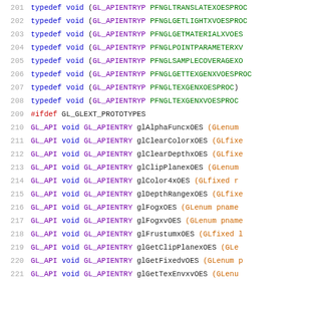Code listing lines 201-221 from an OpenGL ES extension header file showing typedef declarations and GL_API function prototypes for OES_fixed_point extension functions.